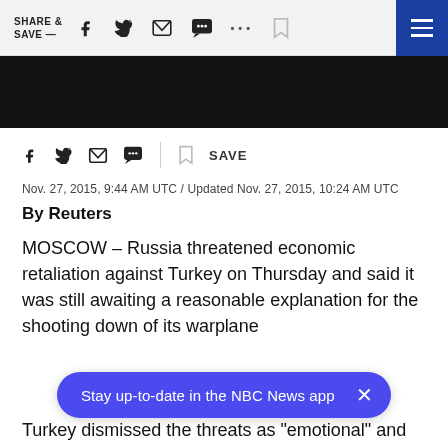SHARE & SAVE —
[Figure (screenshot): Black image/photo area below toolbar]
[Figure (infographic): Inline social share bar with Facebook, Twitter, email, message icons, bookmark, and SAVE label]
Nov. 27, 2015, 9:44 AM UTC / Updated Nov. 27, 2015, 10:24 AM UTC
By Reuters
MOSCOW – Russia threatened economic retaliation against Turkey on Thursday and said it was still awaiting a reasonable explanation for the shooting down of its warplane
[Figure (screenshot): App download banner: Stay up-to-date in the NBC News app]
Turkey dismissed the threats as "emotional" and